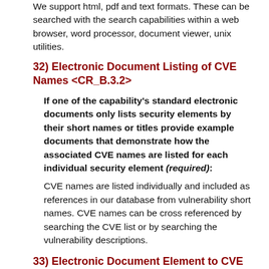We support html, pdf and text formats. These can be searched with the search capabilities within a web browser, word processor, document viewer, unix utilities.
32) Electronic Document Listing of CVE Names <CR_B.3.2>
If one of the capability's standard electronic documents only lists security elements by their short names or titles provide example documents that demonstrate how the associated CVE names are listed for each individual security element (required):
CVE names are listed individually and included as references in our database from vulnerability short names. CVE names can be cross referenced by searching the CVE list or by searching the vulnerability descriptions.
33) Electronic Document Element to CVE Name Mapping <CR_B.3.3>
Provide example documents that demonstrate